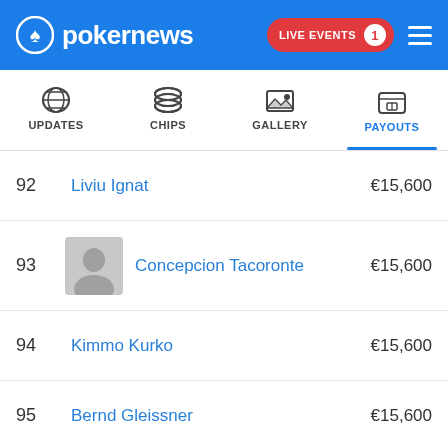pokernews — LIVE EVENTS 1
UPDATES | CHIPS | GALLERY | PAYOUTS
| Rank | Player | Payout |
| --- | --- | --- |
| 92 | Liviu Ignat | €15,600 |
| 93 | Concepcion Tacoronte | €15,600 |
| 94 | Kimmo Kurko | €15,600 |
| 95 | Bernd Gleissner | €15,600 |
| 96 | Mohamed Mamouni | €13,475 |